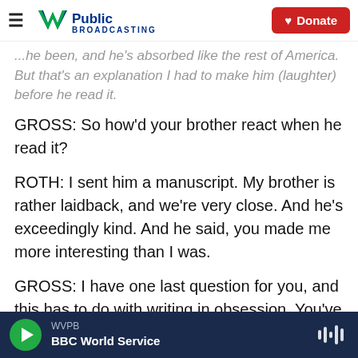WV Public Broadcasting | Donate
...he'd been, and he's absorbed like the rest of America. But that's an explanation I had to make him (laughter) before he read it.
GROSS: So how'd your brother react when he read it?
ROTH: I sent him a manuscript. My brother is rather laidback, and we're very close. And he's exceedingly kind. And he said, you made me more interesting than I was.
GROSS: I have one last question for you, and this has to do with writing in obsession. You've said that
WVPB | BBC World Service